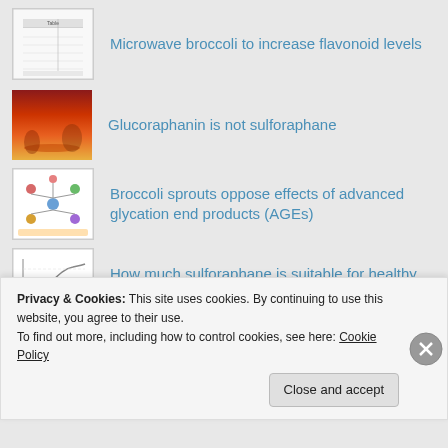Microwave broccoli to increase flavonoid levels
Glucoraphanin is not sulforaphane
Broccoli sprouts oppose effects of advanced glycation end products (AGEs)
How much sulforaphane is suitable for healthy people?
Eat broccoli sprouts for your kidneys
Privacy & Cookies: This site uses cookies. By continuing to use this website, you agree to their use.
To find out more, including how to control cookies, see here: Cookie Policy
Close and accept